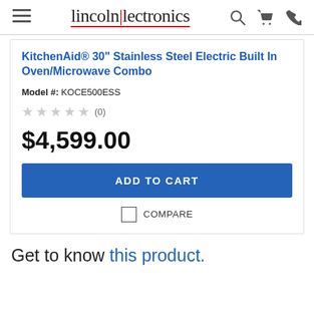lincoln|lectronics
KitchenAid® 30" Stainless Steel Electric Built In Oven/Microwave Combo
Model #: KOCE500ESS
★★★★★ (0)
$4,599.00
ADD TO CART
COMPARE
Get to know this product.